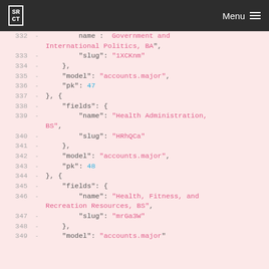SR CT   Menu
[Figure (screenshot): Code diff viewer showing JSON fixture data with line numbers 332-349, pink background, showing accounts.major model entries with fields for name, slug, model, and pk values 47 and 48]
332  -    name :  Government and International Politics, BA",
333  -      "slug": "1XCKnm"
334  -    },
335  -    "model": "accounts.major",
336  -    "pk": 47
337  - }, {
338  -    "fields": {
339  -      "name": "Health Administration, BS",
340  -      "slug": "HRhQCa"
341  -    },
342  -    "model": "accounts.major",
343  -    "pk": 48
344  - }, {
345  -    "fields": {
346  -      "name": "Health, Fitness, and Recreation Resources, BS",
347  -      "slug": "mrGa3W"
348  -    },
349  -    "model": "accounts.major"